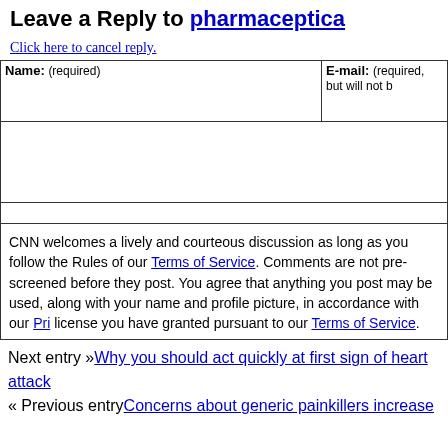Leave a Reply to pharmaceptica
Click here to cancel reply.
| Name: (required) | E-mail: (required, but will not be published) |
| --- | --- |
|  |  |
CNN welcomes a lively and courteous discussion as long as you follow the Rules of our Terms of Service. Comments are not pre-screened before they post. You agree that anything you post may be used, along with your name and profile picture, in accordance with our Privacy Policy and the license you have granted pursuant to our Terms of Service.
Next entry »Why you should act quickly at first sign of heart attack
« Previous entryConcerns about generic painkillers increase